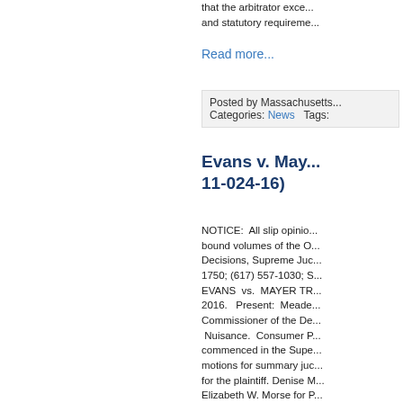that the arbitrator exce... and statutory requireme...
Read more...
Posted by Massachusetts
Categories: News    Tags:
Evans v. May... 11-024-16)
NOTICE:  All slip opinio... bound volumes of the O... Decisions, Supreme Juc... 1750; (617) 557-1030; S... EVANS  vs.  MAYER TR... 2016.  Present:  Meade... Commissioner of the De... Nuisance.  Consumer P... commenced in the Supe... motions for summary jud... for the plaintiff. Denise M... Elizabeth W. Morse for P... boring insect known as t... infests particular types c... address the problem.  U... of infestation were to be... infestation.  The actual t... George Evans, owns pr...